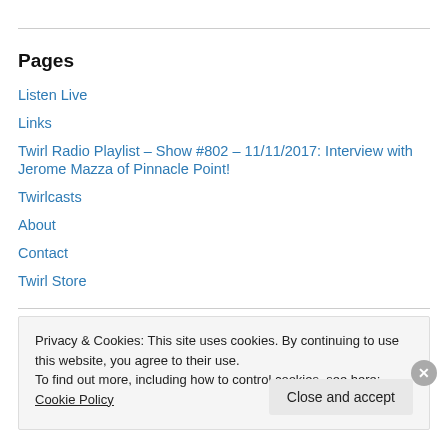Pages
Listen Live
Links
Twirl Radio Playlist – Show #802 – 11/11/2017: Interview with Jerome Mazza of Pinnacle Point!
Twirlcasts
About
Contact
Twirl Store
Privacy & Cookies: This site uses cookies. By continuing to use this website, you agree to their use.
To find out more, including how to control cookies, see here: Cookie Policy